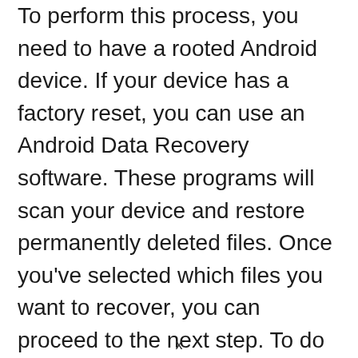To perform this process, you need to have a rooted Android device. If your device has a factory reset, you can use an Android Data Recovery software. These programs will scan your device and restore permanently deleted files. Once you've selected which files you want to recover, you can proceed to the next step. To do this, connect your Android device to your computer. If the device does not automatically recognize your computer, you'll have to enable USB debugging.
x